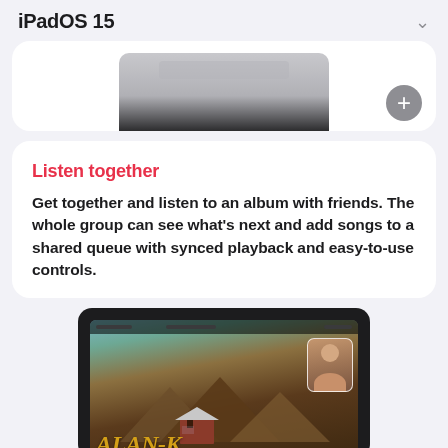iPadOS 15
[Figure (screenshot): Partially visible iPad device at the top of the page, showing a blurred screen, with a grey circular plus button in the lower right corner of the card]
Listen together
Get together and listen to an album with friends. The whole group can see what's next and add songs to a shared queue with synced playback and easy-to-use controls.
[Figure (screenshot): iPad device showing a FaceTime call and Apple Music interface with an album cover showing mountains, a cabin, and text reading ALAN-K, with a small FaceTime video thumbnail of a person in the upper right]